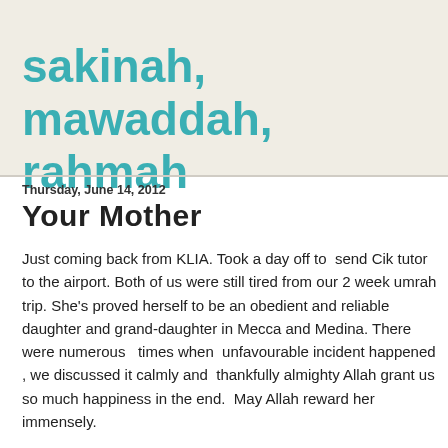sakinah, mawaddah, rahmah
Thursday, June 14, 2012
Your Mother
Just coming back from KLIA. Took a day off to  send Cik tutor to the airport. Both of us were still tired from our 2 week umrah trip. She's proved herself to be an obedient and reliable daughter and grand-daughter in Mecca and Medina. There were numerous   times when  unfavourable incident happened , we discussed it calmly and  thankfully almighty Allah grant us so much happiness in the end.  May Allah reward her immensely.
She is in her late twenties, her grandma is 71 and I celebrated my 54th birthday yesterday. She could just ignore us and joined the high spirited young ladies in our group who